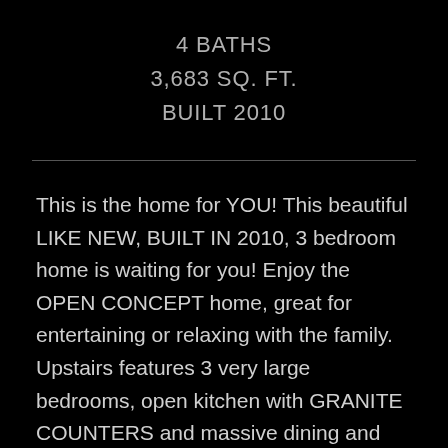4 BATHS
3,683 SQ. FT.
BUILT 2010
This is the home for YOU! This beautiful LIKE NEW, BUILT IN 2010, 3 bedroom home is waiting for you! Enjoy the OPEN CONCEPT home, great for entertaining or relaxing with the family. Upstairs features 3 very large bedrooms, open kitchen with GRANITE COUNTERS and massive dining and living area. Enjoy the relaxing on the COVERED DECKS & PATIOS. The FULLY FINISHED BASEMENT has a separate entry and can easily be converted into a separate suite. This home has so many extras including high end appliance, gas stove, heat